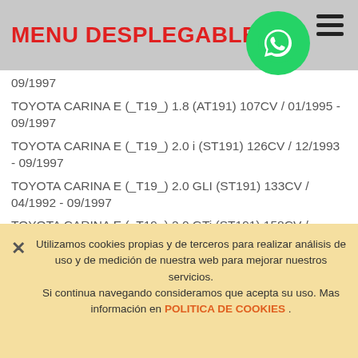MENU DESPLEGABLE
09/1997
TOYOTA CARINA E (_T19_) 1.8 (AT191) 107CV / 01/1995 - 09/1997
TOYOTA CARINA E (_T19_) 2.0 i (ST191) 126CV / 12/1993 - 09/1997
TOYOTA CARINA E (_T19_) 2.0 GLI (ST191) 133CV / 04/1992 - 09/1997
TOYOTA CARINA E (_T19_) 2.0 GTi (ST191) 158CV / 04/1992 - 02/1994
TOYOTA CARINA E (_T19_) 2.0 GTi 16V (ST191_) 175CV / 03/1994 - 09/1997
TOYOTA CARINA E (_T19_) 2.0 D (CT190) 73CV / 04/1992 - 01/1996
TOYOTA CARINA E Sedán (_T19_) 1.6 (AT190) 99CV / 01/1995 - 09/1997
TOYOTA CARINA E Sedán (_T19_) 1.6 (AT190) 106CV /
Utilizamos cookies propias y de terceros para realizar análisis de uso y de medición de nuestra web para mejorar nuestros servicios. Si continua navegando consideramos que acepta su uso. Mas información en POLITICA DE COOKIES .